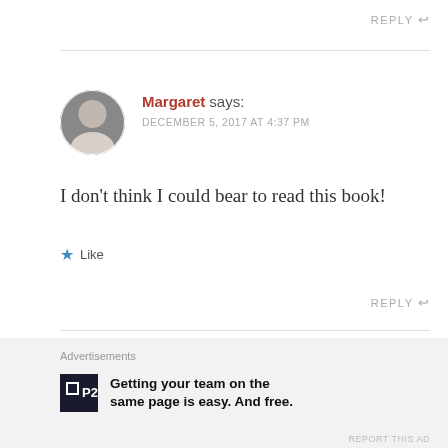REPLY
Margaret says:
DECEMBER 5, 2017 AT 4:37 PM
I don't think I could bear to read this book!
Like
REPLY
Advertisements
Getting your team on the same page is easy. And free.